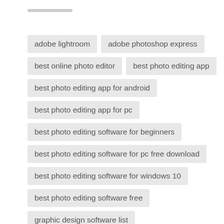adobe lightroom
adobe photoshop express
best online photo editor
best photo editing app
best photo editing app for android
best photo editing app for pc
best photo editing software for beginners
best photo editing software for pc free download
best photo editing software for windows 10
best photo editing software free
graphic design software list
Graphic design tips 2020
how to photoshop a picture
instagram filters online
Instagram post design ideas
Mobile Picture Editor